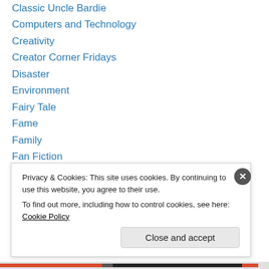Classic Uncle Bardie
Computers and Technology
Creativity
Creator Corner Fridays
Disaster
Environment
Fairy Tale
Fame
Family
Fan Fiction
Fantasy
Five for Friday
Food
Privacy & Cookies: This site uses cookies. By continuing to use this website, you agree to their use.
To find out more, including how to control cookies, see here: Cookie Policy
Close and accept